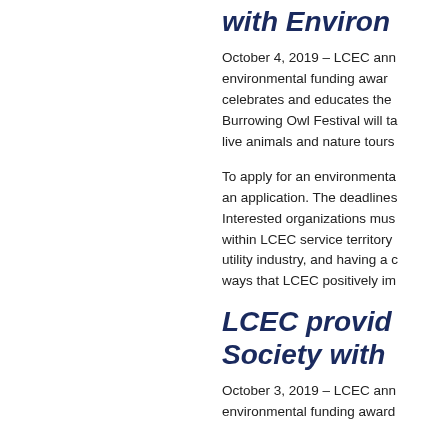with Environ
October 4, 2019 – LCEC ann environmental funding awar celebrates and educates the Burrowing Owl Festival will ta live animals and nature tours
To apply for an environmenta an application. The deadlines Interested organizations mus within LCEC service territory utility industry, and having a c ways that LCEC positively im
LCEC provid Society with
October 3, 2019 – LCEC ann environmental funding award